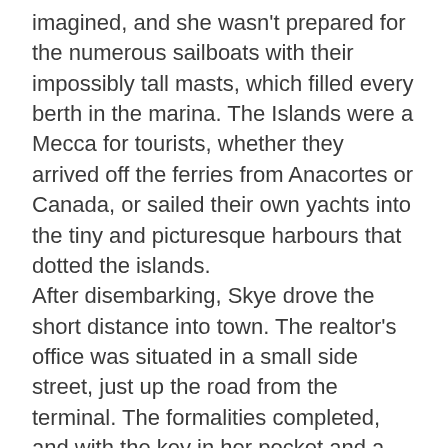imagined, and she wasn't prepared for the numerous sailboats with their impossibly tall masts, which filled every berth in the marina. The Islands were a Mecca for tourists, whether they arrived off the ferries from Anacortes or Canada, or sailed their own yachts into the tiny and picturesque harbours that dotted the islands.
After disembarking, Skye drove the short distance into town. The realtor's office was situated in a small side street, just up the road from the terminal. The formalities completed, and with the key in her pocket and a detailed map in her hand, she once more set out. The roads were deserted, and the only traffic she encountered were trucks carrying fish from the north of the island to the ferry terminal. Skye found driving in this backwater much easier than in Seattle or on the Interstate. Before long her exit came into view; she moved across the highway, and signalled her turn into the private track.
The road in a smaller level...